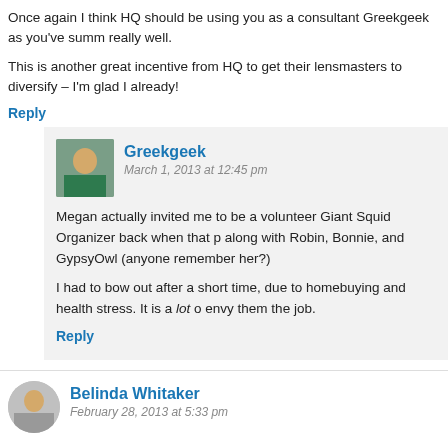Once again I think HQ should be using you as a consultant Greekgeek as you've summ really well.
This is another great incentive from HQ to get their lensmasters to diversify – I'm glad I already!
Reply
Greekgeek
March 1, 2013 at 12:45 pm
Megan actually invited me to be a volunteer Giant Squid Organizer back when that p along with Robin, Bonnie, and GypsyOwl (anyone remember her?)
I had to bow out after a short time, due to homebuying and health stress. It is a lot o envy them the job.
Reply
Belinda Whitaker
February 28, 2013 at 5:33 pm
Excellent post! Right now, my bet is on CrowdIgnite. I've been upset ever since Squido program. It makes sense that Google would see all that traffic going back and forth and
Reply